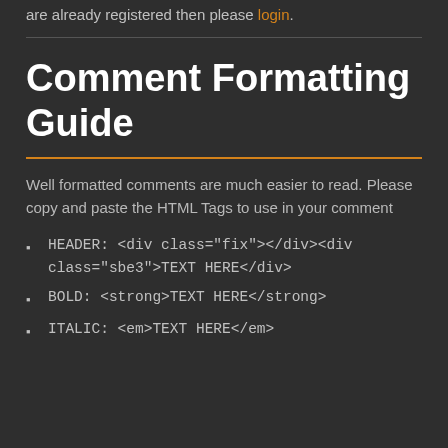are already registered then please login.
Comment Formatting Guide
Well formatted comments are much easier to read. Please copy and paste the HTML Tags to use in your comment
HEADER: <div class="fix"></div><div class="sbe3">TEXT HERE</div>
BOLD: <strong>TEXT HERE</strong>
ITALIC: <em>TEXT HERE</em>